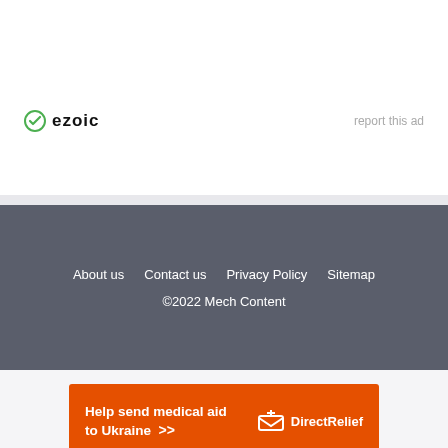[Figure (logo): Ezoic logo with green circular icon and bold 'ezoic' text, alongside 'report this ad' link]
About us   Contact us   Privacy Policy   Sitemap
©2022 Mech Content
[Figure (infographic): Orange banner ad: 'Help send medical aid to Ukraine >>' with DirectRelief logo on right]